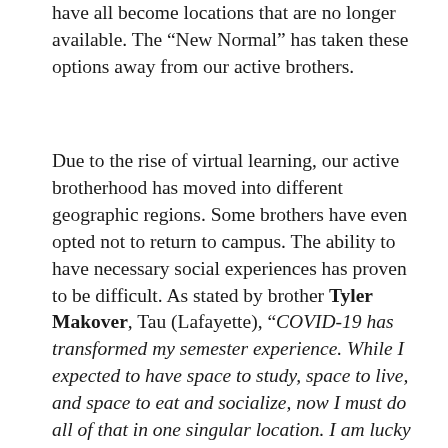have all become locations that are no longer available. The “New Normal” has taken these options away from our active brothers.
Due to the rise of virtual learning, our active brotherhood has moved into different geographic regions. Some brothers have even opted not to return to campus. The ability to have necessary social experiences has proven to be difficult. As stated by brother Tyler Makover, Tau (Lafayette), “COVID-19 has transformed my semester experience. While I expected to have space to study, space to live, and space to eat and socialize, now I must do all of that in one singular location. I am lucky that my parents have given me adequate space to focus on my academics. However, I know many